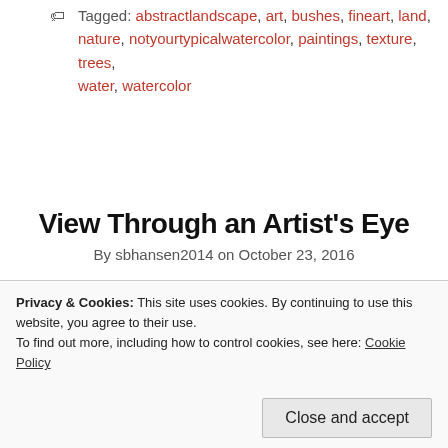Tagged: abstractlandscape, art, bushes, fineart, land, nature, notyourtypicalwatercolor, paintings, texture, trees, water, watercolor
View Through an Artist's Eye
By sbhansen2014 on October 23, 2016
Artists see life differently.
I recently traveled to Colorado to visit my folks and take a mini-vacation. I grew up in Colorado and LOVE, LOVE, Love it.. I still consider it my home. We drove several times into the
Privacy & Cookies: This site uses cookies. By continuing to use this website, you agree to their use.
To find out more, including how to control cookies, see here: Cookie Policy
Close and accept